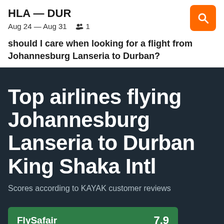HLA — DUR
Aug 24 — Aug 31  1
should I care when looking for a flight from Johannesburg Lanseria to Durban?
Top airlines flying Johannesburg Lanseria to Durban King Shaka Intl
Scores according to KAYAK customer reviews
FlySafair  7,9